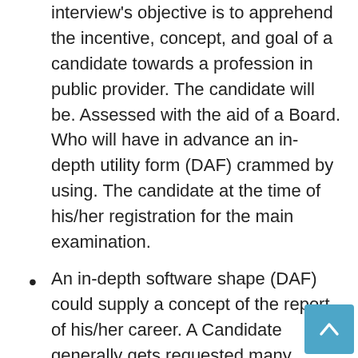interview's objective is to apprehend the incentive, concept, and goal of a candidate towards a profession in public provider. The candidate will be. Assessed with the aid of a Board. Who will have in advance an in-depth utility form (DAF) crammed by using. The candidate at the time of his/her registration for the main examination.
An in-depth software shape (DAF) could supply a concept of the report of his/her career. A Candidate generally gets requested many. Direct questions from his/her DAF and additionally. Approximately countrywide and worldwide troubles and on topics of the standard hobby.